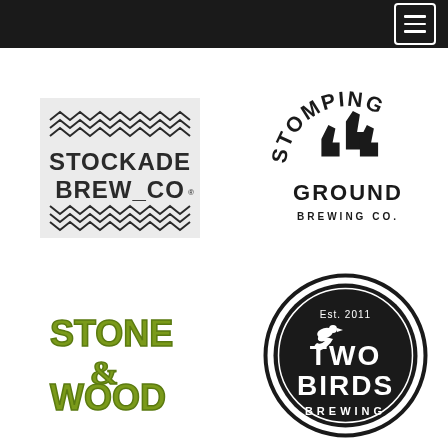Navigation header with hamburger menu
[Figure (logo): Stockade Brew Co logo — black text on light grey background with zigzag wave patterns above and below the text]
[Figure (logo): Stomping Ground Brewing Co. logo — black bold arched text with stylized boot/stomp graphic in centre]
[Figure (logo): Stone & Wood logo — olive/yellow-green bold retro lettering with ampersand flourish]
[Figure (logo): Two Birds Brewing logo — circular black badge with white text reading Est. 2011, TWO BIRDS, BREWING, with small bird silhouette]